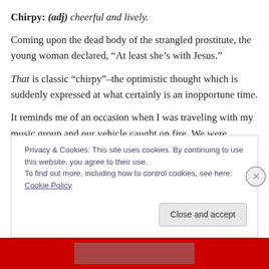Chirpy: (adj) cheerful and lively.
Coming upon the dead body of the strangled prostitute, the young woman declared, “At least she’s with Jesus.”
That is classic “chirpy”–the optimistic thought which is suddenly expressed at what certainly is an inopportune time.
It reminds me of an occasion when I was traveling with my music group and our vehicle caught on fire. We were
Privacy & Cookies: This site uses cookies. By continuing to use this website, you agree to their use.
To find out more, including how to control cookies, see here: Cookie Policy